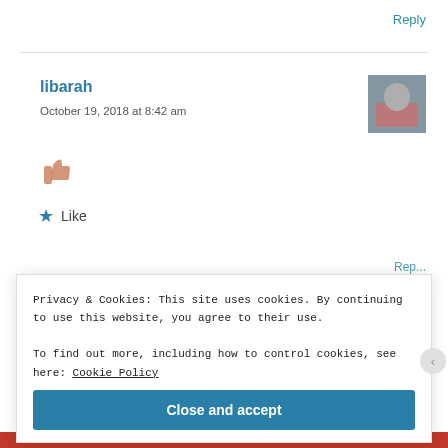Reply
libarah
October 19, 2018 at 8:42 am
[Figure (illustration): Thumbs up emoji in peach/skin tone color]
★ Like
Rep...
Privacy & Cookies: This site uses cookies. By continuing to use this website, you agree to their use.
To find out more, including how to control cookies, see here: Cookie Policy
Close and accept